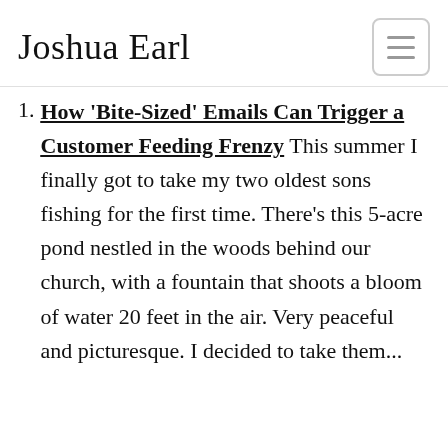Joshua Earl
How 'Bite-Sized' Emails Can Trigger a Customer Feeding Frenzy This summer I finally got to take my two oldest sons fishing for the first time. There's this 5-acre pond nestled in the woods behind our church, with a fountain that shoots a bloom of water 20 feet in the air. Very peaceful and picturesque. I decided to take them...